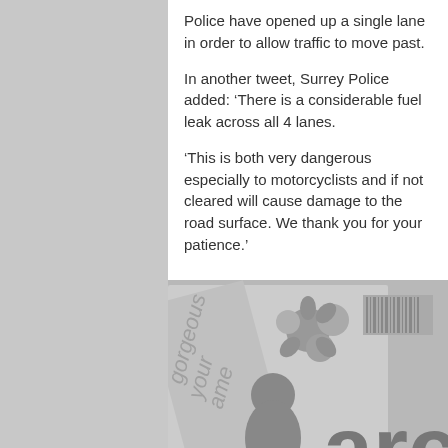Police have opened up a single lane in order to allow traffic to move past.
In another tweet, Surrey Police added: ‘There is a considerable fuel leak across all 4 lanes.
‘This is both very dangerous especially to motorcyclists and if not cleared will cause damage to the road surface. We thank you for your patience.’
[Figure (photo): Grayscale photo of a magazine or card with decorative floral elements and partial text reading 'gorgeous', 'your', 'ame', and 'arc' visible]